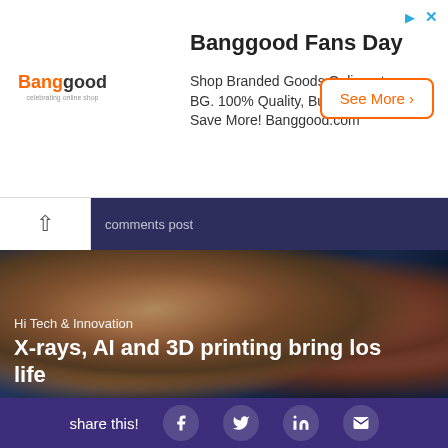[Figure (other): Banggood advertisement banner. Title: 'Banggood Fans Day'. Body text: 'Shop Branded Goods Online at BG. 100% Quality, Buy More & Save More! Banggood.com'. Button: 'See More']
[Figure (photo): Article hero image showing an impressionist-style oil painting of figures, overlaid with category label 'Hi Tech & Innovation' and headline 'X-rays, AI and 3D printing bring los[t art to] life']
[Figure (other): Share bar with social media icons: Facebook, Twitter, LinkedIn, email/envelope. Label: 'share this!']